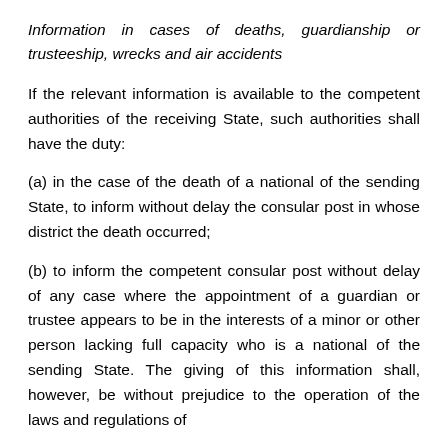Information in cases of deaths, guardianship or trusteeship, wrecks and air accidents
If the relevant information is available to the competent authorities of the receiving State, such authorities shall have the duty:
(a) in the case of the death of a national of the sending State, to inform without delay the consular post in whose district the death occurred;
(b) to inform the competent consular post without delay of any case where the appointment of a guardian or trustee appears to be in the interests of a minor or other person lacking full capacity who is a national of the sending State. The giving of this information shall, however, be without prejudice to the operation of the laws and regulations of